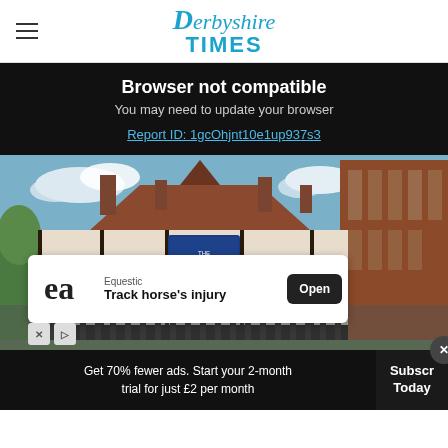Derbyshire Times
Browser not compatible
You may need to update your browser
Report ID: 1gcOhjnt10e1up937s3
[Figure (photo): Exterior street-view photo of a traditional English pub building with brick walls, a pointed gable, chimneys, and a blue sign, next to a modern brick building]
Equestic
Track horse's injury
Get 70% fewer ads. Start your 2-month trial for just £2 per month
Subscribe Today